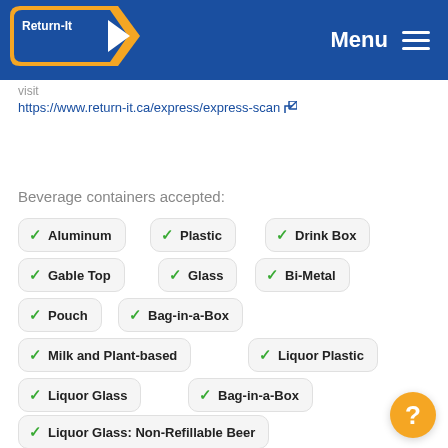[Figure (logo): Return-It logo with arrow on blue header background]
Menu ≡
visit
https://www.return-it.ca/express/express-scan
Beverage containers accepted:
✓ Aluminum
✓ Plastic
✓ Drink Box
✓ Gable Top
✓ Glass
✓ Bi-Metal
✓ Pouch
✓ Bag-in-a-Box
✓ Milk and Plant-based
✓ Liquor Plastic
✓ Liquor Glass
✓ Bag-in-a-Box
✓ Liquor Glass: Non-Refillable Beer